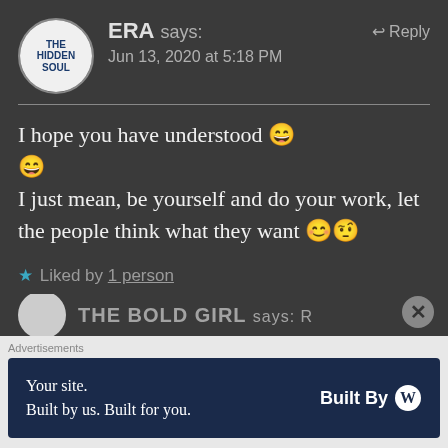ERA says: Jun 13, 2020 at 5:18 PM
I hope you have understood 😄😄
I just mean, be yourself and do your work, let the people think what they want 😊🤨
★ Liked by 1 person
THE BOLD GIRL says: R...
Advertisements
Your site.
Built by us. Built for you.
Built By W